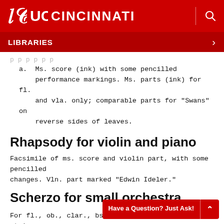[Figure (logo): University of Cincinnati logo with UC emblem and CINCINNATI text in white on red background, with search icon]
LIBRARIES
a. Ms. score (ink) with some pencilled performance markings. Ms. parts (ink) for fl. and vla. only; comparable parts for "Swans" on reverse sides of leaves.
Rhapsody for violin and piano
Facsimile of ms. score and violin part, with some pencilled changes. Vln. part marked "Edwin Ideler."
Scherzo for small orchestra
For fl., ob., clar., bsn., 2 hn., timp, and strings. Ms. score (ink).